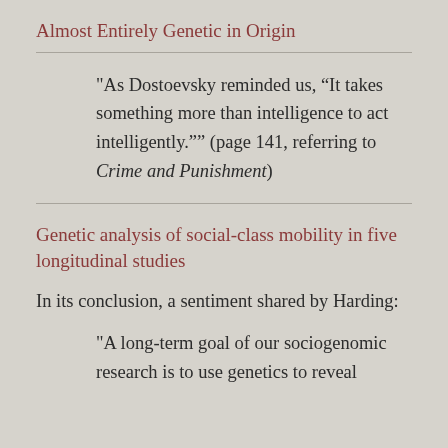Almost Entirely Genetic in Origin
"As Dostoevsky reminded us, “It takes something more than intelligence to act intelligently.”” (page 141, referring to Crime and Punishment)
Genetic analysis of social-class mobility in five longitudinal studies
In its conclusion, a sentiment shared by Harding:
"A long-term goal of our sociogenomic research is to use genetics to reveal